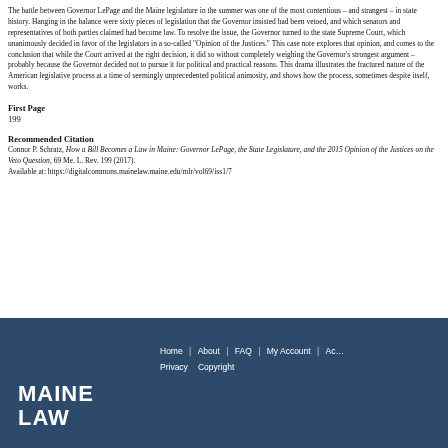The battle between Governor LePage and the Maine legislature in the summer was one of the most contentious – and strangest – in state history. Hanging in the balance were sixty pieces of legislation that the Governor insisted had been vetoed, and which senators and representatives of both parties claimed had become law. To resolve the issue, the Governor turned to the state Supreme Court, which unanimously decided in favor of the legislators in a so-called "Opinion of the Justices." This case note explores that opinion, and comes to the conclusion that while the Court arrived at the right decision, it did so without completely weighing the Governor's strongest argument – probably because the Governor decided not to pursue it for political and practical reasons. This drama illustrates the fractured nature of the American legislative process at a time of seemingly unprecedented political animosity, and shows how the process, sometimes despite itself, works.
First Page
199
Recommended Citation
Connor P. Schratz, How a Bill Becomes a Law in Maine: Governor LePage, the State Legislature, and the 2015 Opinion of the Justices on the Veto Question, 69 Me. L. Rev. 199 (2017). Available at: https://digitalcommons.mainelaw.maine.edu/mlr/vol69/iss1/7
MAINE LAW | Home | About | FAQ | My Account | Accessibility | Privacy | Copyright